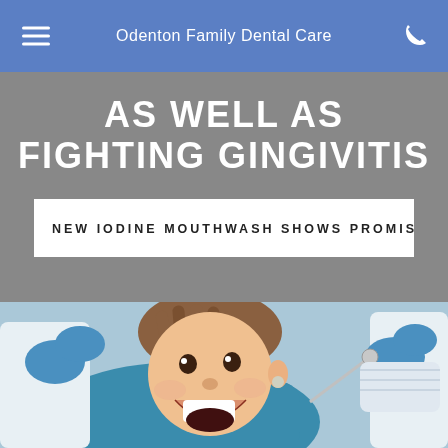Odenton Family Dental Care
AS WELL AS FIGHTING GINGIVITIS
NEW IODINE MOUTHWASH SHOWS PROMISE OF LOWE
[Figure (photo): A young smiling boy in a dental chair with a dentist and dental hygienist in blue gloves attending to him]